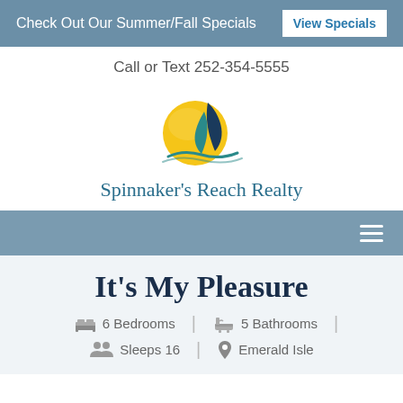Check Out Our Summer/Fall Specials   View Specials
Call or Text 252-354-5555
[Figure (logo): Spinnaker's Reach Realty logo — circular sun over sailboat sail graphic with teal and dark blue colors, company name below]
It's My Pleasure
6 Bedrooms  |  5 Bathrooms  |  Sleeps 16  |  Emerald Isle